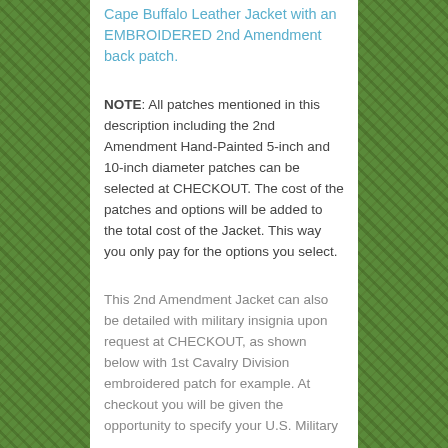Cape Buffalo Leather Jacket with an EMBROIDERED 2nd Amendment back patch.
NOTE: All patches mentioned in this description including the 2nd Amendment Hand-Painted 5-inch and 10-inch diameter patches can be selected at CHECKOUT. The cost of the patches and options will be added to the total cost of the Jacket. This way you only pay for the options you select.
This 2nd Amendment Jacket can also be detailed with military insignia upon request at CHECKOUT, as shown below with 1st Cavalry Division embroidered patch for example. At checkout you will be given the opportunity to specify your U.S. Military